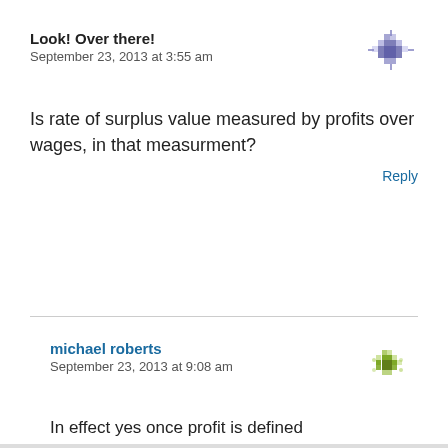Look! Over there!
September 23, 2013 at 3:55 am
Is rate of surplus value measured by profits over wages, in that measurment?
Reply
michael roberts
September 23, 2013 at 9:08 am
In effect yes once profit is defined
Reply